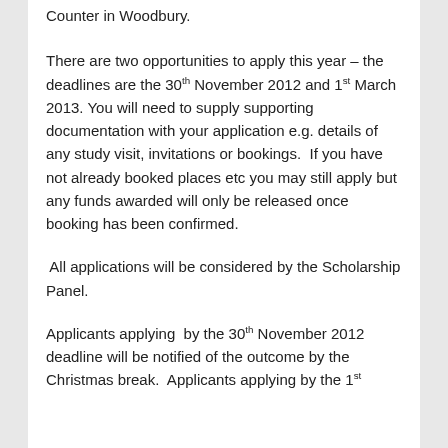Counter in Woodbury.
There are two opportunities to apply this year – the deadlines are the 30th November 2012 and 1st March 2013. You will need to supply supporting documentation with your application e.g. details of any study visit, invitations or bookings.  If you have not already booked places etc you may still apply but any funds awarded will only be released once booking has been confirmed.
All applications will be considered by the Scholarship Panel.
Applicants applying  by the 30th November 2012 deadline will be notified of the outcome by the Christmas break.  Applicants applying by the 1st